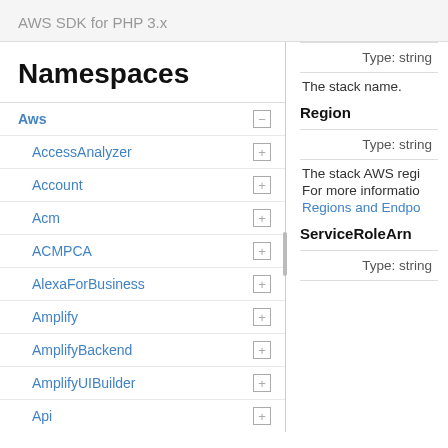AWS SDK for PHP 3.x
Namespaces
Aws
AccessAnalyzer
Account
Acm
ACMPCA
AlexaForBusiness
Amplify
AmplifyBackend
AmplifyUIBuilder
Api
ApiGateway
ApiGatewayManagementApi
Type: string
The stack name.
Region
Type: string
The stack AWS regi
For more informatio
Regions and Endpo
ServiceRoleArn
Type: string